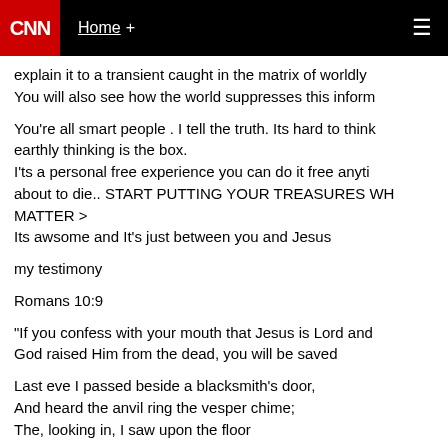CNN | Home +
explain it to a transient caught in the matrix of worldly
You will also see how the world suppresses this inform
You're all smart people . I tell the truth. Its hard to think
earthly thinking is the box.
I'ts a personal free experience you can do it free anyti
about to die.. START PUTTING YOUR TREASURES WH
MATTER >
Its awsome and It's just between you and Jesus
my testimony
Romans 10:9
"If you confess with your mouth that Jesus is Lord and
God raised Him from the dead, you will be saved
Last eve I passed beside a blacksmith's door,
And heard the anvil ring the vesper chime;
The, looking in, I saw upon the floor